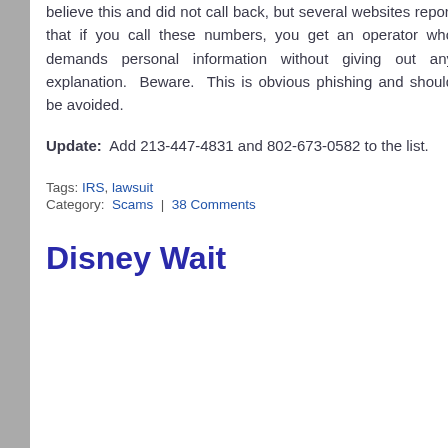believe this and did not call back, but several websites report that if you call these numbers, you get an operator who demands personal information without giving out any explanation. Beware. This is obvious phishing and should be avoided.
Update: Add 213-447-4831 and 802-673-0582 to the list.
Tags: IRS, lawsuit
Category: Scams | 38 Comments
Disney Wait